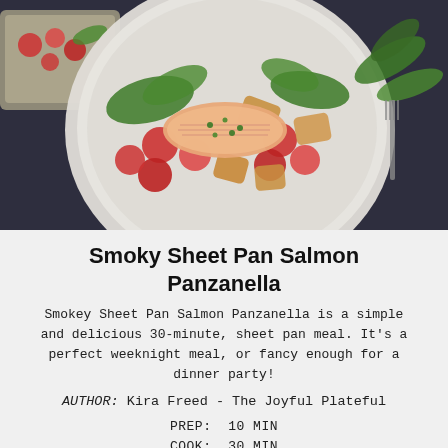[Figure (photo): Overhead photo of a white bowl containing salmon fillet with cherry tomatoes, arugula, and croutons on a dark background, with a fork and herbs visible]
Smoky Sheet Pan Salmon Panzanella
Smokey Sheet Pan Salmon Panzanella is a simple and delicious 30-minute, sheet pan meal. It's a perfect weeknight meal, or fancy enough for a dinner party!
AUTHOR: Kira Freed - The Joyful Plateful
PREP: 10 MIN
COOK: 30 MIN
TOTAL: 40 MIN